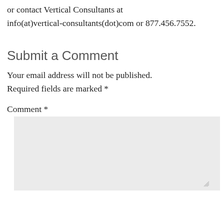or contact Vertical Consultants at info(at)vertical-consultants(dot)com or 877.456.7552.
Submit a Comment
Your email address will not be published. Required fields are marked *
Comment *